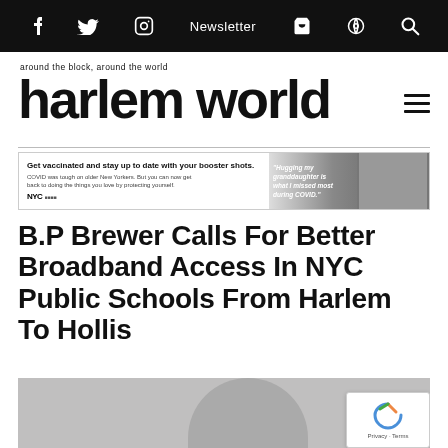f  Twitter  Instagram  Newsletter  Cart  Podcast  Search
[Figure (logo): Harlem World magazine logo with tagline 'around the block, around the world']
[Figure (infographic): NYC vaccination advertisement banner: 'Get vaccinated and stay up to date with your booster shots. COVID was tough on older New Yorkers. But you can now get back to doing the things you love by protecting yourself.' with NYC logo and photo of grandmother hugging grandchild with quote 'Hugging my granddaughter is what I missed most during COVID.']
B.P Brewer Calls For Better Broadband Access In NYC Public Schools From Harlem To Hollis
[Figure (photo): Partial photo of a person's head/face, cropped at bottom of page, with reCAPTCHA Privacy - Terms badge overlay in bottom right corner]